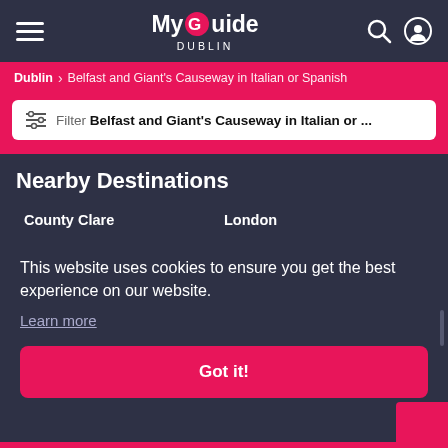My Guide Dublin
Dublin > Belfast and Giant's Causeway in Italian or Spanish
Filter Belfast and Giant's Causeway in Italian or ...
Nearby Destinations
County Clare
London
This website uses cookies to ensure you get the best experience on our website.
Learn more
Got it!